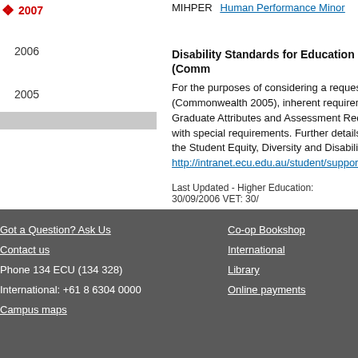2007
2006
2005
MIHPER   Human Performance Minor
Disability Standards for Education (Comm
For the purposes of considering a reques (Commonwealth 2005), inherent requireme Graduate Attributes and Assessment Requ with special requirements. Further details on the Student Equity, Diversity and Disability S http://intranet.ecu.edu.au/student/support/st
Last Updated - Higher Education: 30/09/2006 VET: 30/
Got a Question? Ask Us | Contact us | Phone 134 ECU (134 328) | International: +61 8 6304 0000 | Campus maps | Co-op Bookshop | International | Library | Online payments